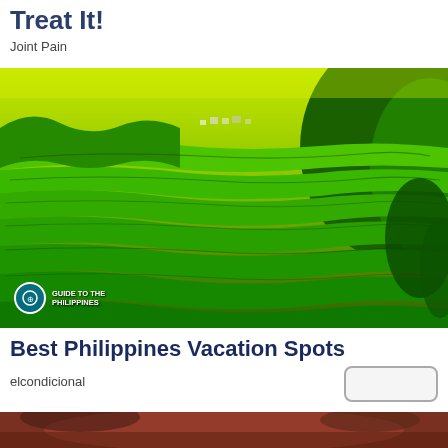Treat It!
Joint Pain
[Figure (photo): Aerial view of lush green rice terraces in the Philippines with a village visible in the background and 'Guide to the Philippines' watermark in lower left]
Best Philippines Vacation Spots
elcondicional